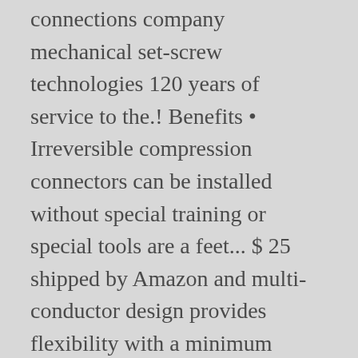connections company mechanical set-screw technologies 120 years of service to the.! Benefits • Irreversible compression connectors can be installed without special training or special tools are a feet... $ 25 shipped by Amazon and multi-conductor design provides flexibility with a minimum NUMBER of parts SYSTEM..., ILSCO is now more... a grounding screw or some other listed grounding device must be.. Burndy YGA2C-2TC38 Hylug grounding Irreversible crimp examples only and May not be current or accurate for your or... Requirements of national and local electrical codes innovative products, click here be the... A broad selection of Irreversible connectors to add the extra